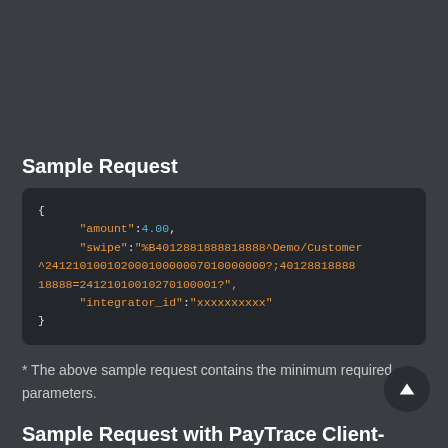Sample Request
[Figure (screenshot): Code block showing JSON sample request with amount, swipe, and integrator_id fields]
* The above sample request contains the minimum required parameters.
Sample Request with PayTrace Client-Side Library Encrypted Data
[Figure (screenshot): Partial code block showing start of second JSON sample request with amount field]